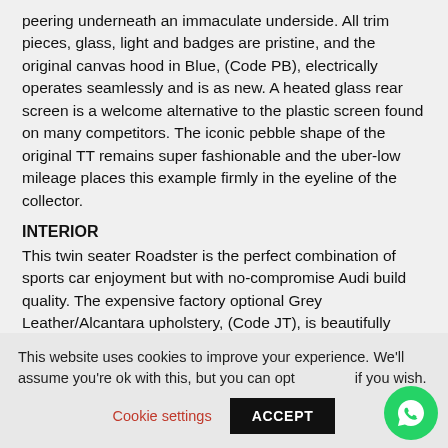peering underneath an immaculate underside. All trim pieces, glass, light and badges are pristine, and the original canvas hood in Blue, (Code PB), electrically operates seamlessly and is as new. A heated glass rear screen is a welcome alternative to the plastic screen found on many competitors. The iconic pebble shape of the original TT remains super fashionable and the uber-low mileage places this example firmly in the eyeline of the collector.
INTERIOR
This twin seater Roadster is the perfect combination of sports car enjoyment but with no-compromise Audi build quality. The expensive factory optional Grey Leather/Alcantara upholstery, (Code JT), is beautifully clean with firmness retained and no bobbling to the Alcantara. The...
This website uses cookies to improve your experience. We'll assume you're ok with this, but you can opt-out if you wish. Cookie settings ACCEPT